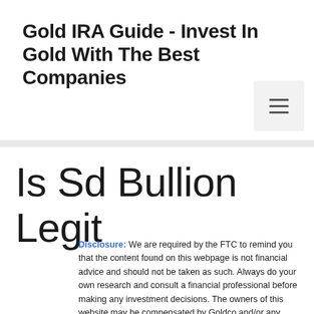Gold IRA Guide - Invest In Gold With The Best Companies
Is Sd Bullion Legit
Disclosure: We are required by the FTC to remind you that the content found on this webpage is not financial advice and should not be taken as such. Always do your own research and consult a financial professional before making any investment decisions. The owners of this website may be compensated by Goldco and/or any